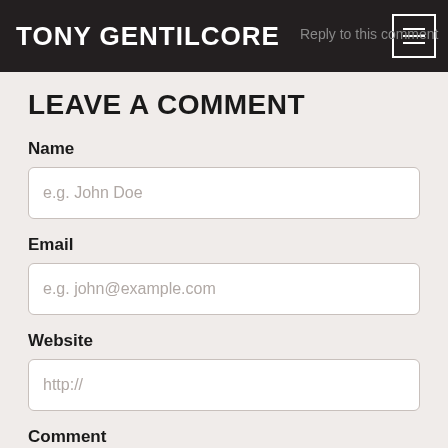TONY GENTILCORE  Reply to this comment
LEAVE A COMMENT
Name
e.g. John Doe
Email
e.g. john@example.com
Website
http://
Comment